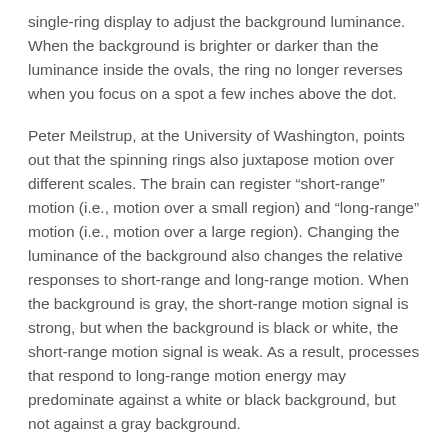single-ring display to adjust the background luminance. When the background is brighter or darker than the luminance inside the ovals, the ring no longer reverses when you focus on a spot a few inches above the dot.
Peter Meilstrup, at the University of Washington, points out that the spinning rings also juxtapose motion over different scales. The brain can register “short-range” motion (i.e., motion over a small region) and “long-range” motion (i.e., motion over a large region). Changing the luminance of the background also changes the relative responses to short-range and long-range motion. When the background is gray, the short-range motion signal is strong, but when the background is black or white, the short-range motion signal is weak. As a result, processes that respond to long-range motion energy may predominate against a white or black background, but not against a gray background.
Here are two references (courtesy of Peter) that examine the juxtaposition of long-range and short-range motion processes: